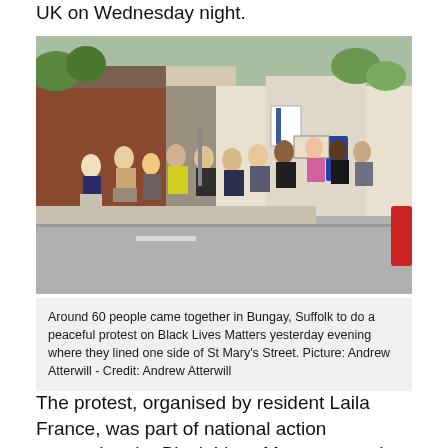UK on Wednesday night.
[Figure (photo): People kneeling along one side of St Mary's Street in Bungay, Suffolk, as part of a Black Lives Matter peaceful protest. A line of approximately 15 people kneel on the pavement along a brick wall and building facades, with one person holding a sign. A street with cars passes by on the right.]
Around 60 people came together in Bungay, Suffolk to do a peaceful protest on Black Lives Matters yesterday evening where they lined one side of St Mary's Street. Picture: Andrew Atterwill - Credit: Andrew Atterwill
The protest, organised by resident Laila France, was part of national action supporting the Black Lives Matter campaign to highlight police injustices in the